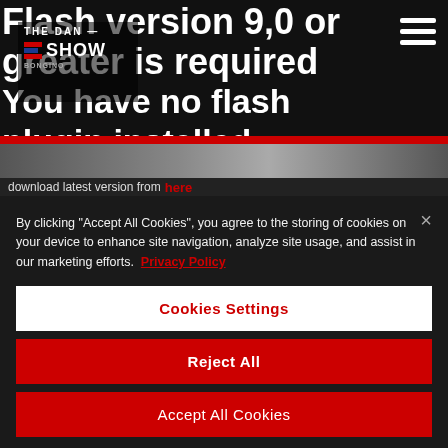[Figure (screenshot): Website header background with large white text reading 'Flash version 9,0 or greater is required. You have no flash plugin installed.' overlaid with The Dan Bongino Show logo and hamburger menu icon in top right.]
download latest version from here
By clicking “Accept All Cookies”, you agree to the storing of cookies on your device to enhance site navigation, analyze site usage, and assist in our marketing efforts. Privacy Policy
Cookies Settings
Reject All
Accept All Cookies